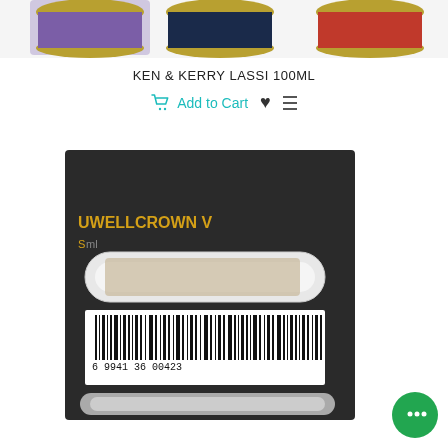[Figure (photo): Three colorful product cans/tins partially visible at the top of the page, with purple, blue, and red label colors on gold-rimmed tins]
KEN & KERRY LASSI 100ML
Add to Cart
[Figure (photo): A black product box for UWELL CROWN V with a glass replacement tube component visible. The box shows a barcode with number 6 9417 36 00423 at the bottom. A chat bubble icon appears in the bottom right corner.]